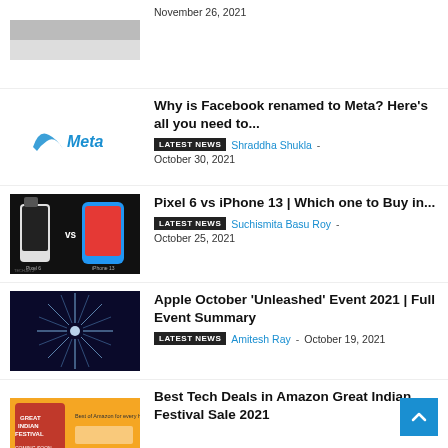[Figure (photo): Partial thumbnail image at top, cut off]
November 26, 2021
Why is Facebook renamed to Meta? Here’s all you need to...
[Figure (logo): Meta logo (dark teal cursive with check mark)]
LATEST NEWS  Shraddha Shukla - October 30, 2021
[Figure (photo): Pixel 6 vs iPhone 13 comparison image]
Pixel 6 vs iPhone 13 | Which one to Buy in...
LATEST NEWS  Suchismita Basu Roy - October 25, 2021
[Figure (photo): Apple event starburst light graphic]
Apple October ‘Unleashed’ Event 2021 | Full Event Summary
LATEST NEWS  Amitesh Ray - October 19, 2021
[Figure (photo): Amazon Great Indian Festival Sale banner]
Best Tech Deals in Amazon Great Indian Festival Sale 2021